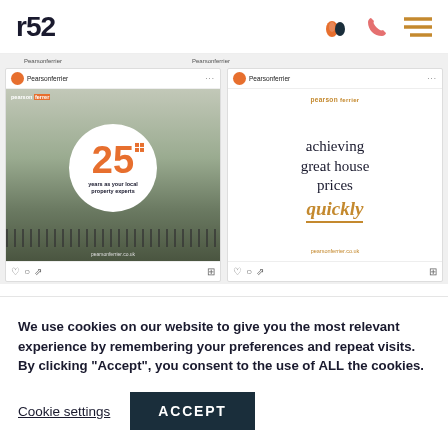r52
[Figure (screenshot): Two Instagram posts from Pearson Ferrier estate agents. Left post shows a building photo with an orange '25 years as your local property experts' circular badge. Right post shows white background with text 'achieving great house prices quickly' where 'quickly' is in gold italic with underline.]
We use cookies on our website to give you the most relevant experience by remembering your preferences and repeat visits. By clicking “Accept”, you consent to the use of ALL the cookies.
Cookie settings
ACCEPT